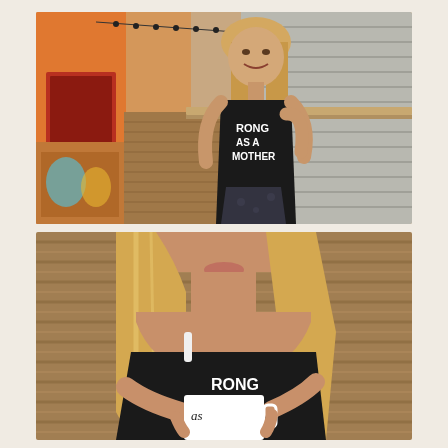[Figure (photo): A smiling blonde woman wearing a black sleeveless tank top with white text reading 'STRONG AS A MOTHER', standing in front of a colorful storefront with orange and red walls and a corrugated metal shutter. String lights hang above.]
[Figure (photo): Close-up of a blonde woman wearing a black sleeveless tank top with white text 'RONG AS A MOTHER', holding a white mug with cursive text. The background shows a corrugated wood/metal wall. Her face is partially cropped at the top.]